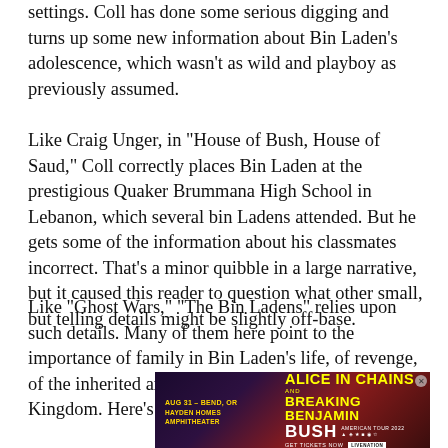settings. Coll has done some serious digging and turns up some new information about Bin Laden's adolescence, which wasn't as wild and playboy as previously assumed.
Like Craig Unger, in "House of Bush, House of Saud," Coll correctly places Bin Laden at the prestigious Quaker Brummana High School in Lebanon, which several bin Ladens attended. But he gets some of the information about his classmates incorrect. That's a minor quibble in a large narrative, but it caused this reader to question what other small, but telling details might be slightly off-base.
Like "Ghost Wars," "The Bin Ladens" relies upon such details. Many of them here point to the importance of family in Bin Laden's life, of revenge, of the inherited ambition to something for the Kingdom. Here's one, though that will be hard to forget: Five of the
[Figure (other): Advertisement for Alice In Chains and Breaking Benjamin and Bush American Tour 2022 concert on Aug 31 in Bend, OR at Hayden Homes Amphitheater. Get Tickets Now via Live Nation.]